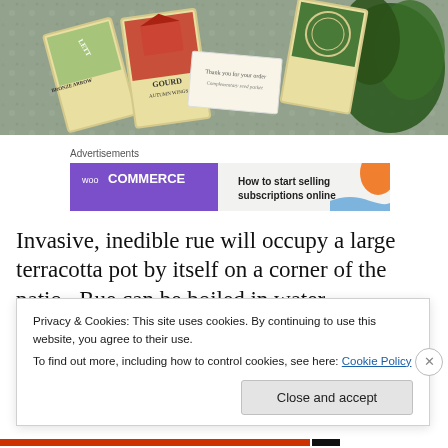[Figure (photo): Photo of seed packets including Gourd Autumn Wings, Bronze Arrow Lettuce, and other seed packets arranged on a granite surface with a thank you note card visible]
Advertisements
[Figure (screenshot): WooCommerce advertisement banner: purple left side with WooCommerce logo and green arrow, right side with text 'How to start selling subscriptions online' and orange shape]
Invasive, inedible rue will occupy a large terracotta pot by itself on a corner of the patio.  Rue can be boiled in water
Privacy & Cookies: This site uses cookies. By continuing to use this website, you agree to their use.
To find out more, including how to control cookies, see here: Cookie Policy
Close and accept